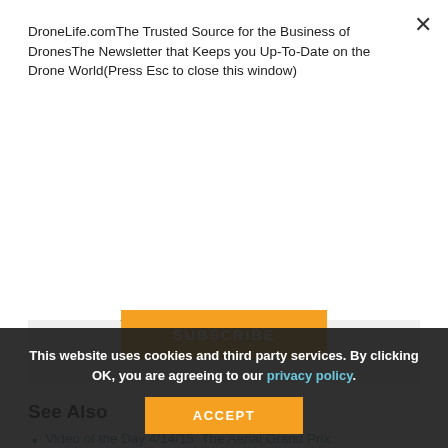DroneLife.comThe Trusted Source for the Business of DronesThe Newsletter that Keeps you Up-To-Date on the Drone World(Press Esc to close this window)
[Figure (other): Orange SUBSCRIBE button]
authoritative source for news and analysis on the drone industry: it's people, products, trends, and events.
Email Frank
TWITTER:@fschroth
See Also
Video of the Day 4/14/15: The Aerial Grand Prix
This website uses cookies and third party services. By clicking OK, you are agreeing to our privacy policy.
[Figure (other): Orange ACCEPT button]